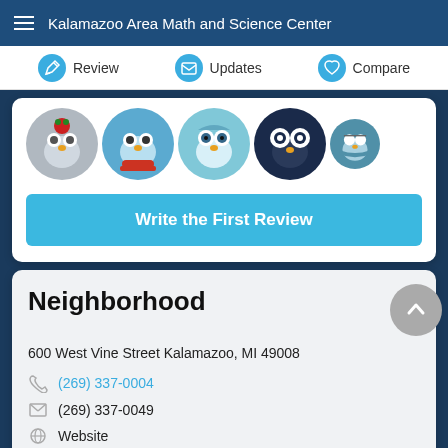Kalamazoo Area Math and Science Center
Review | Updates | Compare
[Figure (illustration): Row of five circular owl avatar icons]
Write the First Review
Neighborhood
600 West Vine Street Kalamazoo, MI 49008
(269) 337-0004
(269) 337-0049
Website